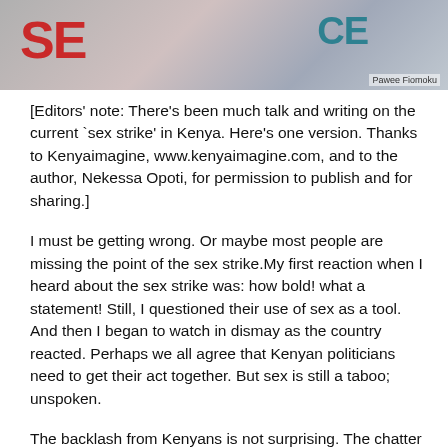[Figure (photo): Partial photo of protest signs showing large red and teal letters, possibly 'PEACE' or similar word]
Pawee Fiomoku
[Editors' note: There's been much talk and writing on the current `sex strike' in Kenya. Here's one version. Thanks to Kenyaimagine, www.kenyaimagine.com, and to the author, Nekessa Opoti, for permission to publish and for sharing.]
I must be getting wrong. Or maybe most people are missing the point of the sex strike.My first reaction when I heard about the sex strike was: how bold! what a statement! Still, I questioned their use of sex as a tool. And then I began to watch in dismay as the country reacted. Perhaps we all agree that Kenyan politicians need to get their act together. But sex is still a taboo; unspoken.
The backlash from Kenyans is not surprising. The chatter on social networking sites, and in email conversations, shows that many Kenyans do not believe that this was the right strategy. But first let's look at examples in recent history where women